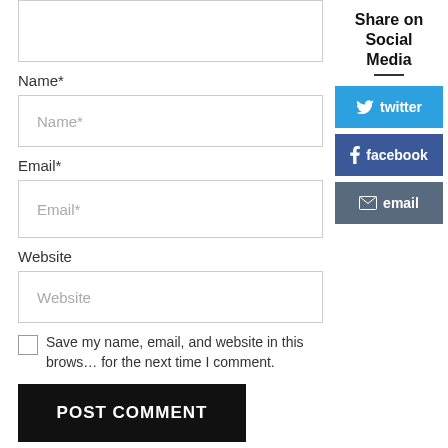[Figure (screenshot): Partial textarea input box at top of page (comment form)]
Name*
[Figure (screenshot): Name* input field]
Email*
[Figure (screenshot): Email* input field]
Website
[Figure (screenshot): Website input field]
Save my name, email, and website in this browser for the next time I comment.
[Figure (screenshot): POST COMMENT button (black)]
Share on Social Media
[Figure (screenshot): Twitter, Facebook, Email social sharing buttons]